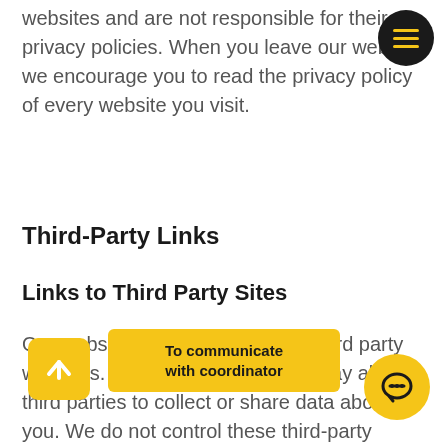websites and are not responsible for their privacy policies. When you leave our website, we encourage you to read the privacy policy of every website you visit.
Third-Party Links
Links to Third Party Sites
Our website may include links to third party websites. Clicking on those links may allow third parties to collect or share data about you. We do not control these third-party websites and are not responsible for their